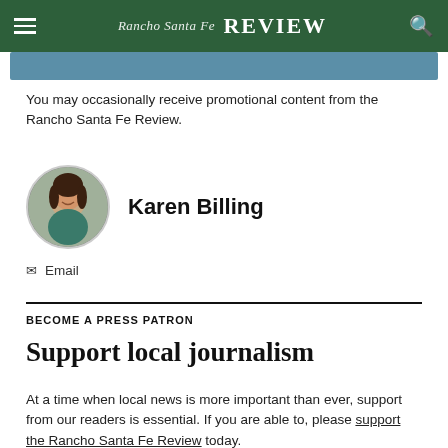Rancho Santa Fe Review
You may occasionally receive promotional content from the Rancho Santa Fe Review.
Karen Billing
Email
BECOME A PRESS PATRON
Support local journalism
At a time when local news is more important than ever, support from our readers is essential. If you are able to, please support the Rancho Santa Fe Review today.